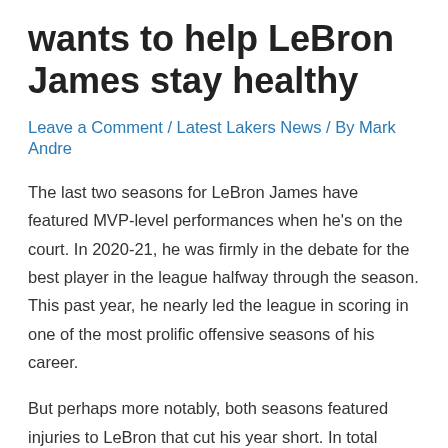wants to help LeBron James stay healthy
Leave a Comment / Latest Lakers News / By Mark Andre
The last two seasons for LeBron James have featured MVP-level performances when he's on the court. In 2020-21, he was firmly in the debate for the best player in the league halfway through the season. This past year, he nearly led the league in scoring in one of the most prolific offensive seasons of his career.
But perhaps more notably, both seasons featured injuries to LeBron that cut his year short. In total across the two seasons, LeBron played 101 of a possible 164 games. While he's still defeating Father Time, the margin of victory has gotten smaller and smaller each year.
It makes sense, then, that one of Darvin Ham's main priorities as new head coach is to preserve LeBron. At his introductory press